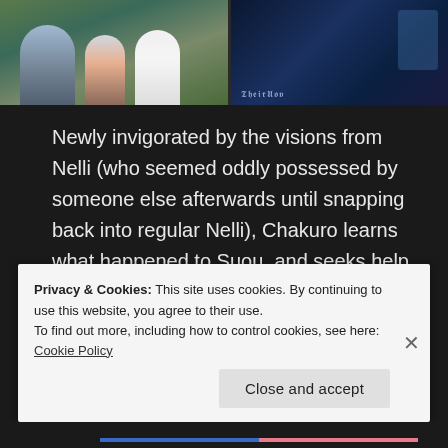[Figure (screenshot): Anime screenshot showing characters including figures in blue and white clothing on the left, and a dark mystical scene on the right]
Newly invigorated by the visions from Nelli (who seemed oddly possessed by someone else afterwards until snapping back into regular Nelli), Chakuro learns what happened to Suou, and seeks help from Lykos, Ouni, and Ouni's gang (what's left of it).
Privacy & Cookies: This site uses cookies. By continuing to use this website, you agree to their use.
To find out more, including how to control cookies, see here: Cookie Policy
Close and accept